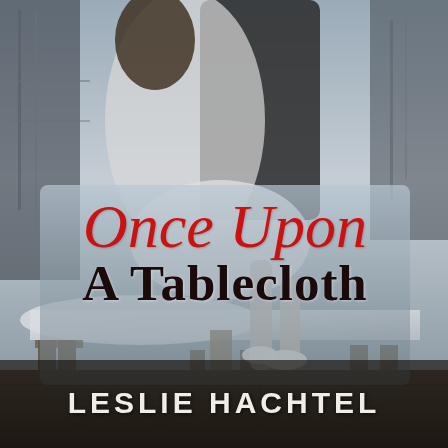[Figure (photo): Book cover for 'Once Upon a Tablecloth' by Leslie Hachtel. Black and white photo of a couple in a restaurant setting — a woman in a white dress sitting on a table and a man in black — with chairs and wooden floor in the background. The title text 'Once Upon a Tablecloth' is overlaid in red italic and dark bold serif fonts. The author name 'Leslie Hachtel' appears at the bottom in large white spaced capitals.]